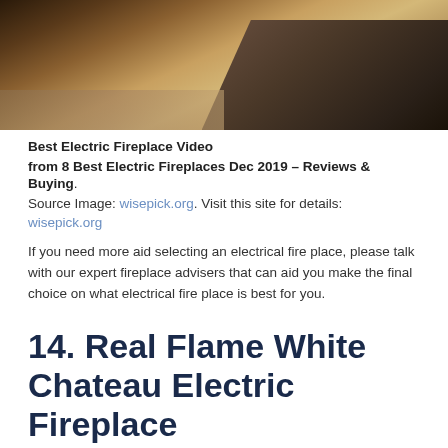[Figure (photo): Top portion of a room with dark wood floor/table and tile visible, warm brown tones]
Best Electric Fireplace Video
from 8 Best Electric Fireplaces Dec 2019 – Reviews & Buying.
Source Image: wisepick.org. Visit this site for details: wisepick.org
If you need more aid selecting an electrical fire place, please talk with our expert fireplace advisers that can aid you make the final choice on what electrical fire place is best for you.
14. Real Flame White Chateau Electric Fireplace
[Figure (photo): Room interior with lamp and decorative branches in vase, warm beige/brown tones]